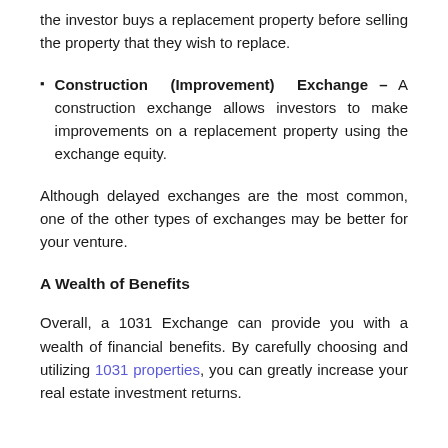the investor buys a replacement property before selling the property that they wish to replace.
Construction (Improvement) Exchange – A construction exchange allows investors to make improvements on a replacement property using the exchange equity.
Although delayed exchanges are the most common, one of the other types of exchanges may be better for your venture.
A Wealth of Benefits
Overall, a 1031 Exchange can provide you with a wealth of financial benefits. By carefully choosing and utilizing 1031 properties, you can greatly increase your real estate investment returns.